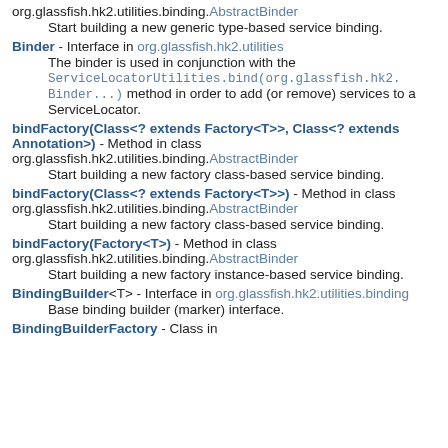org.glassfish.hk2.utilities.binding.AbstractBinder
Start building a new generic type-based service binding.
Binder - Interface in org.glassfish.hk2.utilities
The binder is used in conjunction with the ServiceLocatorUtilities.bind(org.glassfish.hk2.Binder...) method in order to add (or remove) services to a ServiceLocator.
bindFactory(Class<? extends Factory<T>>, Class<? extends Annotation>) - Method in class org.glassfish.hk2.utilities.binding.AbstractBinder
Start building a new factory class-based service binding.
bindFactory(Class<? extends Factory<T>>) - Method in class org.glassfish.hk2.utilities.binding.AbstractBinder
Start building a new factory class-based service binding.
bindFactory(Factory<T>) - Method in class org.glassfish.hk2.utilities.binding.AbstractBinder
Start building a new factory instance-based service binding.
BindingBuilder<T> - Interface in org.glassfish.hk2.utilities.binding
Base binding builder (marker) interface.
BindingBuilderFactory - Class in